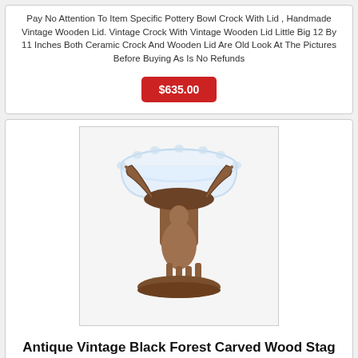Pay No Attention To Item Specific Pottery Bowl Crock With Lid , Handmade Vintage Wooden Lid. Vintage Crock With Vintage Wooden Lid Little Big 12 By 11 Inches Both Ceramic Crock And Wooden Lid Are Old Look At The Pictures Before Buying As Is No Refunds
$635.00
[Figure (photo): Photo of an antique vintage Black Forest carved wood stag deer figurine base holding a clear cut glass bowl on top, displayed against a white background.]
Antique Vintage Black Forest Carved Wood Stag Deer Cut Glass Bowl